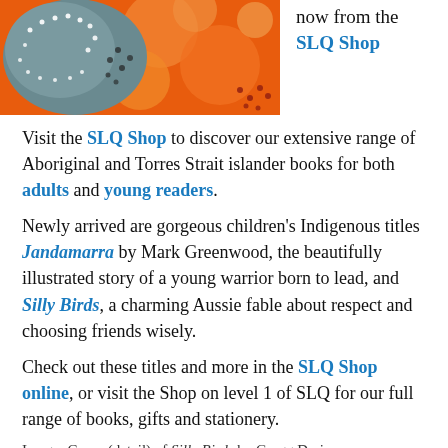[Figure (photo): Colorful Aboriginal artwork detail showing orange, teal/grey, and dotted patterns — cover detail of Silly Birds]
now from the SLQ Shop
Visit the SLQ Shop to discover our extensive range of Aboriginal and Torres Strait islander books for both adults and young readers.
Newly arrived are gorgeous children's Indigenous titles Jandamarra by Mark Greenwood, the beautifully illustrated story of a young warrior born to lead, and Silly Birds, a charming Aussie fable about respect and choosing friends wisely.
Check out these titles and more in the SLQ Shop online, or visit the Shop on level 1 of SLQ for our full range of books, gifts and stationery.
Image: Cover (detail) of Silly Birds by Gregg Dreise